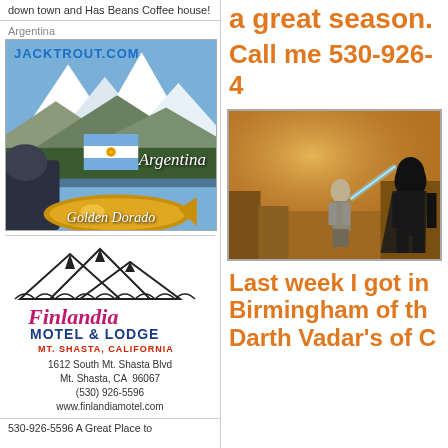down town and Has Beans Coffee house!
Argentina
[Figure (photo): JACKTROUT.COM Argentina fishing advertisement showing mountain lake, man holding Golden Dorado fish, Argentine flag]
[Figure (logo): Finlandia Motel & Lodge Mt. Shasta California logo with mountain illustration]
1612 South Mt. Shasta Blvd
Mt. Shasta, CA  96067
(530) 926-5596
www.finlandiamotel.com
530-926-5596 A Great Place to
a great season.
Call me 530-926-4
[Figure (photo): Star Wars scene showing figure with lightsaber facing Darth Vader in a sandy/desert environment]
Last week I got in
Birmingham of th
Darth Vadar's of C